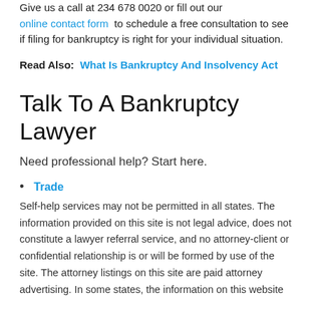Give us a call at 234 678 0020 or fill out our online contact form to schedule a free consultation to see if filing for bankruptcy is right for your individual situation.
Read Also: What Is Bankruptcy And Insolvency Act
Talk To A Bankruptcy Lawyer
Need professional help? Start here.
Trade
Self-help services may not be permitted in all states. The information provided on this site is not legal advice, does not constitute a lawyer referral service, and no attorney-client or confidential relationship is or will be formed by use of the site. The attorney listings on this site are paid attorney advertising. In some states, the information on this website may be considered a lawyer referral service. Please